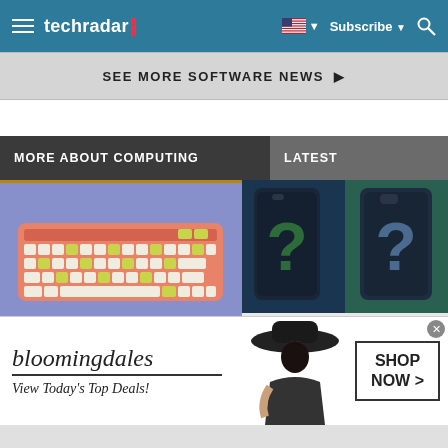techradar — Subscribe — Search
SEE MORE SOFTWARE NEWS ▶
MORE ABOUT COMPUTING
LATEST
[Figure (photo): Pink and white mechanical keyboard with yellow-green accent keys on a purple/blue background]
[Figure (photo): Two dark smartphones (iPhone-style) with large question mark overlays on a dark teal/navy background]
[Figure (photo): Bloomingdales advertisement: logo, 'View Today's Top Deals!' text, woman in hat, 'SHOP NOW >' button]